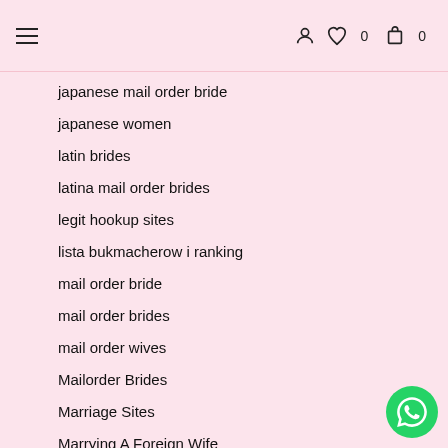Navigation header with hamburger menu, user icon, wishlist (0), cart (0)
japanese mail order bride
japanese women
latin brides
latina mail order brides
legit hookup sites
lista bukmacherow i ranking
mail order bride
mail order brides
mail order wives
Mailorder Brides
Marriage Sites
Marrying A Foreign Wife
Meet Gorgeous Brides
Meet Real Brides
meet women
Meeting Women Online